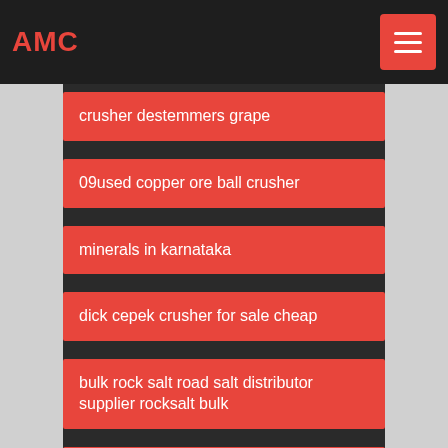AMC
crusher destemmers grape
09used copper ore ball crusher
minerals in karnataka
dick cepek crusher for sale cheap
bulk rock salt road salt distributor supplier rocksalt bulk
precision jig grinding machines × y 600x400mm
grinding crusher 2